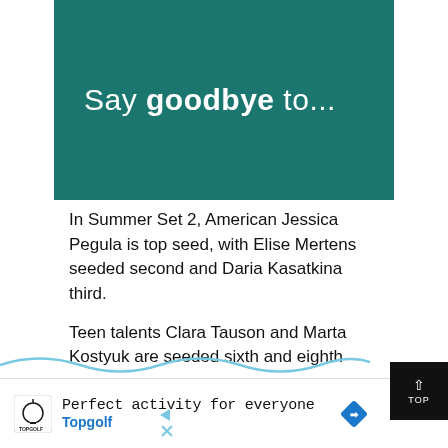[Figure (illustration): Teal/dark green banner image with text 'Say goodbye to...' in white, light-weight font with 'goodbye' in bold.]
In Summer Set 2, American Jessica Pegula is top seed, with Elise Mertens seeded second and Daria Kasatkina third.
Teen talents Clara Tauson and Marta Kostyuk are seeded sixth and eighth
[Figure (infographic): Bottom advertisement bar for Topgolf: 'Perfect activity for everyone' with Topgolf logo and navigation icons. Also shows a TOP button overlay and a wave/swipe graphic.]